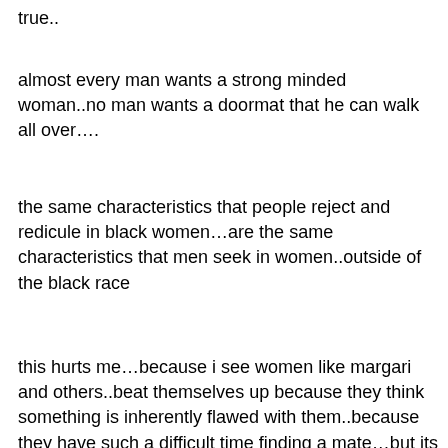true..
almost every man wants a strong minded woman..no man wants a doormat that he can walk all over….
the same characteristics that people reject and redicule in black women…are the same characteristics that men seek in women..outside of the black race
this hurts me…because i see women like margari and others..beat themselves up because they think something is inherently flawed with them..because they have such a difficult time finding a mate…but its not ur personalities or attitude…the first thing these men see is ur skin